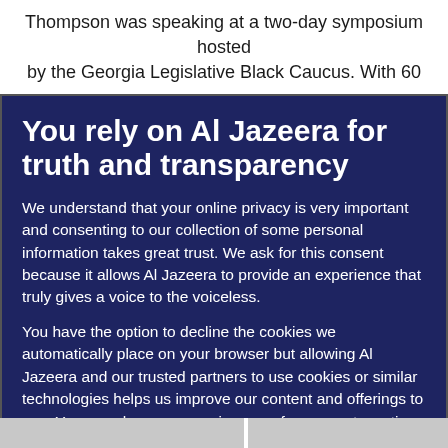Thompson was speaking at a two-day symposium hosted by the Georgia Legislative Black Caucus. With 60
You rely on Al Jazeera for truth and transparency
We understand that your online privacy is very important and consenting to our collection of some personal information takes great trust. We ask for this consent because it allows Al Jazeera to provide an experience that truly gives a voice to the voiceless.
You have the option to decline the cookies we automatically place on your browser but allowing Al Jazeera and our trusted partners to use cookies or similar technologies helps us improve our content and offerings to you. You can change your privacy preferences at any time by selecting ‘Cookie preferences’ at the bottom of your screen. To learn more, please view our Cookie Policy.